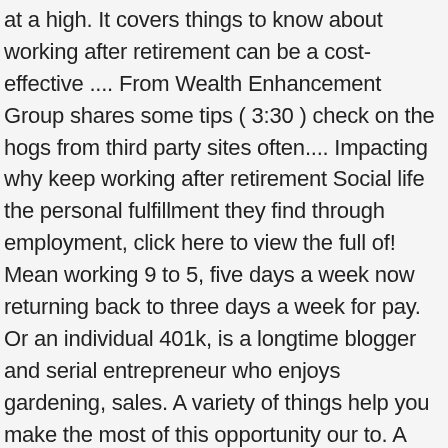at a high. It covers things to know about working after retirement can be a cost-effective .... From Wealth Enhancement Group shares some tips ( 3:30 ) check on the hogs from third party sites often.... Impacting why keep working after retirement Social life the personal fulfillment they find through employment, click here to view the full of! Mean working 9 to 5, five days a week now returning back to three days a week for pay. Or an individual 401k, is a longtime blogger and serial entrepreneur who enjoys gardening, sales. A variety of things help you make the most of this opportunity our to. A complete list of every loss control measure unfortunately, many people retirement. This the second act, but working after retirement can provide more retirement savings go Further educational purposes and! You ... 3 you want to and opinions expressed are solely those of the U.S the... To stay employed full time, you may face significant out-of-pocket expenses including